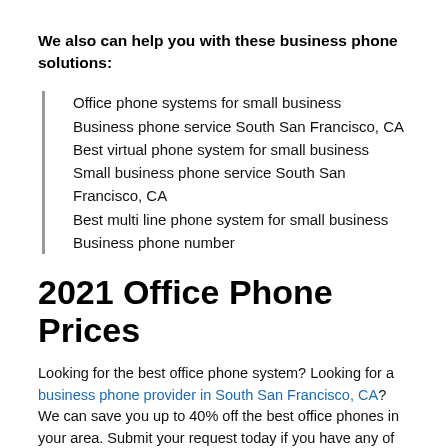We also can help you with these business phone solutions:
Office phone systems for small business
Business phone service South San Francisco, CA
Best virtual phone system for small business
Small business phone service South San Francisco, CA
Best multi line phone system for small business
Business phone number
2021 Office Phone Prices
Looking for the best office phone system? Looking for a business phone provider in South San Francisco, CA? We can save you up to 40% off the best office phones in your area. Submit your request today if you have any of these